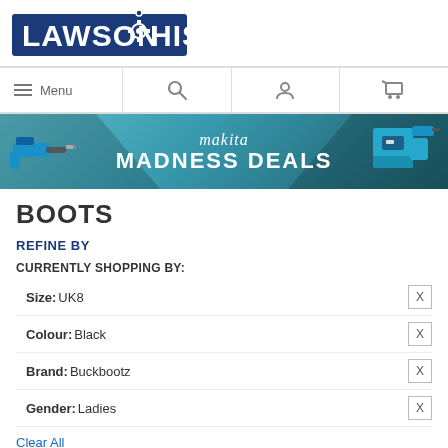[Figure (logo): Lawson-HIS logo: bold white text on dark blue background with gear icon]
[Figure (infographic): Makita Madness Deals promotional banner with power tools on teal/dark background]
BOOTS
REFINE BY
CURRENTLY SHOPPING BY:
Size: UK8
Colour: Black
Brand: Buckbootz
Gender: Ladies
Clear All